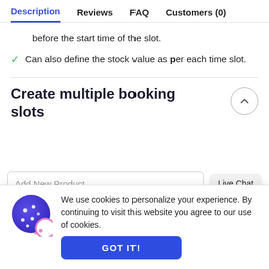Description | Reviews | FAQ | Customers (0)
before the start time of the slot.
Can also define the stock value as per each time slot.
Create multiple booking slots
Add New Product
Live Chat
We use cookies to personalize your experience. By continuing to visit this website you agree to our use of cookies.
GOT IT!